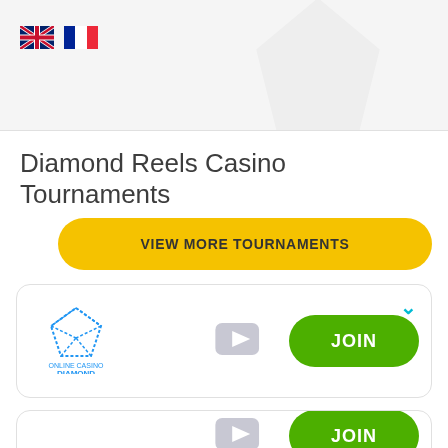[Figure (screenshot): Top banner area with ghost watermark diamond logo and flag icons for English and French language selection]
Diamond Reels Casino Tournaments
VIEW MORE TOURNAMENTS
[Figure (other): Casino tournament card with Diamond Reels logo, YouTube icon, and green JOIN button]
[Figure (other): Second casino tournament card partially visible with YouTube icon and green JOIN button]